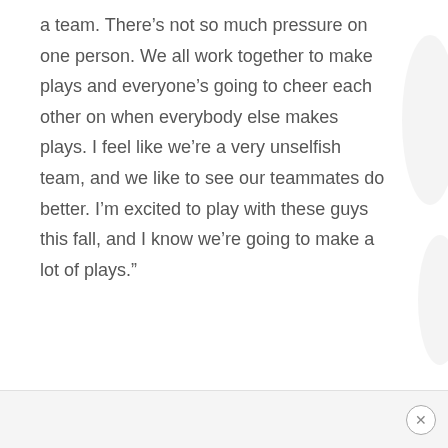a team. There’s not so much pressure on one person. We all work together to make plays and everyone’s going to cheer each other on when everybody else makes plays. I feel like we’re a very unselfish team, and we like to see our teammates do better. I’m excited to play with these guys this fall, and I know we’re going to make a lot of plays.”